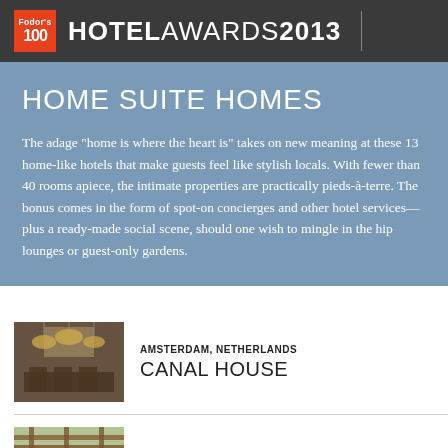Fodor's 100 HOTEL AWARDS 2013
HOME SUITE HOMES
The adage "home is where the heart is" takes on new meaning at these 13 home-like hotels that make guests feel like stylish locals. With fewer than 40 rooms apiece, the intimate properties are practically pieds-à-terre. The bonus comes in the form of spot-on concierges and other hotel services—plus a ready-made social scene, should one wish to mingle in the hip lounges or guest-only gardens.
[Figure (photo): Interior of Canal House hotel Amsterdam, showing dining area with pendant lights]
AMSTERDAM, NETHERLANDS
CANAL HOUSE
[Figure (photo): Exterior or terrace of Cap Maison, Cap Estate, St. Lucia, showing wooden pergola structure]
CAP ESTATE, ST. LUCIA
CAP MAISON